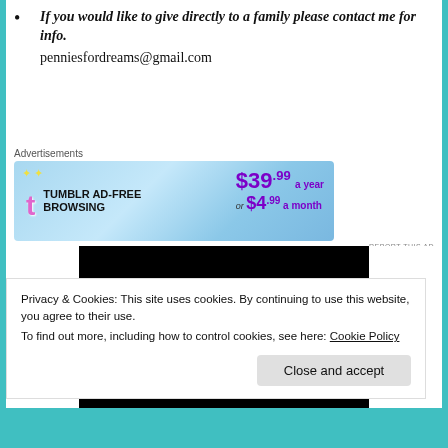If you would like to give directly to a family please contact me for info.
penniesfordreams@gmail.com
[Figure (screenshot): Tumblr Ad-Free Browsing advertisement banner: $39.99 a year or $4.99 a month]
[Figure (photo): Two red 3D heart shapes on a black background]
Privacy & Cookies: This site uses cookies. By continuing to use this website, you agree to their use.
To find out more, including how to control cookies, see here: Cookie Policy
[Close and accept button]